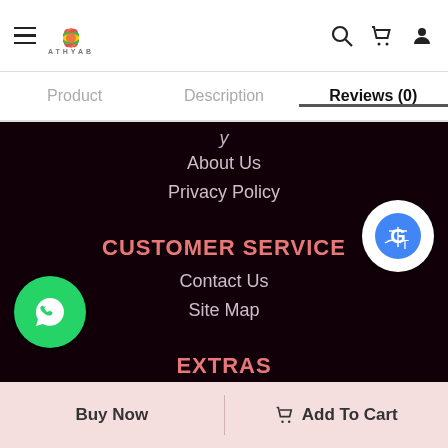ATHYAB — navigation header with hamburger, logo, search, cart, profile icons
Product | Description | Reviews (0) — tab navigation, Reviews(0) active
About Us
Privacy Policy
CUSTOMER SERVICE
Contact Us
Site Map
EXTRAS
Brands
Special Promotions
Product Bestseller
Buy Now
Add To Cart